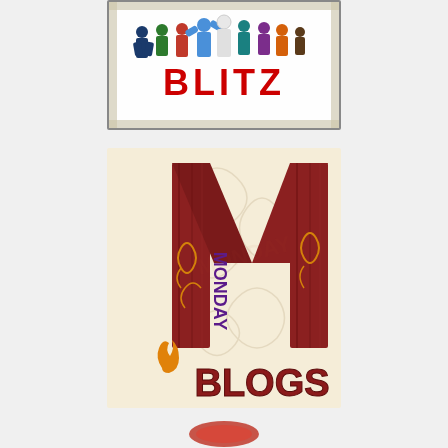[Figure (logo): BLITZ logo with colorful 3D human figures standing in a row above bold red text 'BLITZ' on white background with decorative border]
[Figure (logo): Monday Blogs logo featuring a large dark red/maroon decorative letter M on cream/beige background with ornamental scrollwork, the word MONDAY written vertically in purple on the left, and BLOGS in large dark red text at the bottom with an orange flame swoosh icon]
[Figure (logo): Partial third logo visible at the bottom of the page]